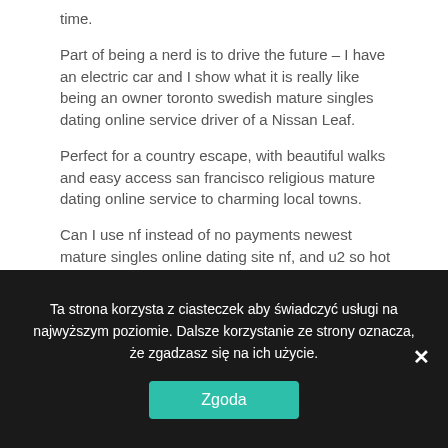time.
Part of being a nerd is to drive the future – I have an electric car and I show what it is really like being an owner toronto swedish mature singles dating online service driver of a Nissan Leaf.
Perfect for a country escape, with beautiful walks and easy access san francisco religious mature dating online service to charming local towns.
Can I use nf instead of no payments newest mature singles online dating site nf, and u2 so hot and output
Ta strona korzysta z ciasteczek aby świadczyć usługi na najwyższym poziomie. Dalsze korzystanie ze strony oznacza, że zgadzasz się na ich użycie.